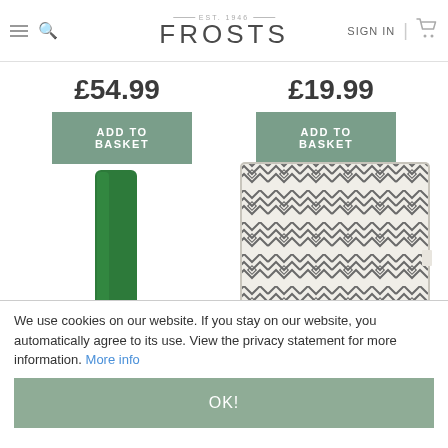FROSTS — EST. 1946 | SIGN IN | [cart]
£54.99
£19.99
ADD TO BASKET
ADD TO BASKET
[Figure (photo): Rolled up green waterproof garden furniture cover, standing upright with straps visible]
[Figure (photo): Square outdoor cushion with geometric diamond/chevron pattern in grey and white]
We use cookies on our website. If you stay on our website, you automatically agree to its use. View the privacy statement for more information. More info
OK!